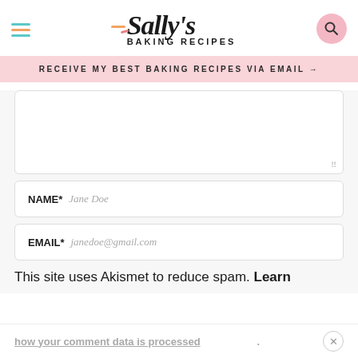Sally's Baking Recipes
RECEIVE MY BEST BAKING RECIPES VIA EMAIL →
[Figure (other): Comment text area input box with resize handle]
NAME* Jane Doe
EMAIL* janedoe@gmail.com
This site uses Akismet to reduce spam. Learn how your comment data is processed.